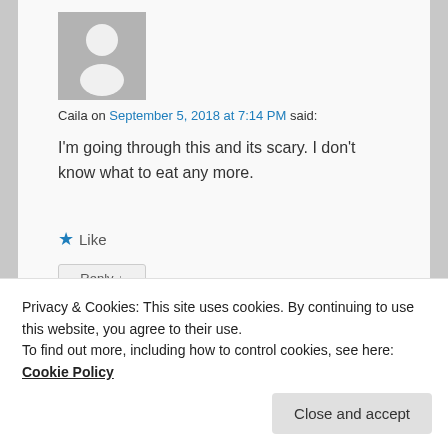[Figure (illustration): Grey placeholder avatar silhouette of a person on a grey square background]
Caila on September 5, 2018 at 7:14 PM said:
I'm going through this and its scary. I don't know what to eat any more.
★ Like
Reply ↓
esmeelafleur
September 5, 2018 at 3:04 PM
Privacy & Cookies: This site uses cookies. By continuing to use this website, you agree to their use.
To find out more, including how to control cookies, see here: Cookie Policy